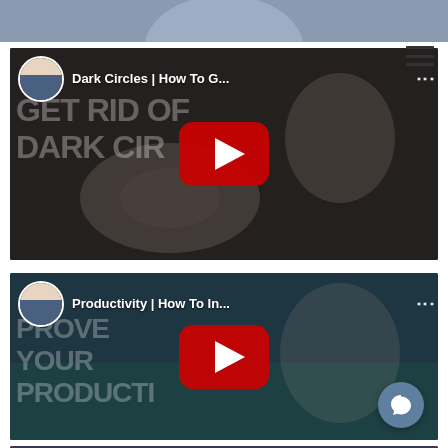[Figure (screenshot): Partially visible YouTube video thumbnail at the top of the page showing a man in a white shirt and tie]
[Figure (screenshot): YouTube video card titled 'Dark Circles | How To G...' with a YouTube play button overlay and background text reading 'GET RID OF DARK CIRCLES']
[Figure (screenshot): YouTube video card titled 'Productivity | How To In...' with a YouTube play button overlay and background text reading 'IMPROVE YOUR PRODUCTIVITY', with a chat bubble icon in the bottom right]
[Figure (screenshot): Partially visible third YouTube video card at the bottom of the page]